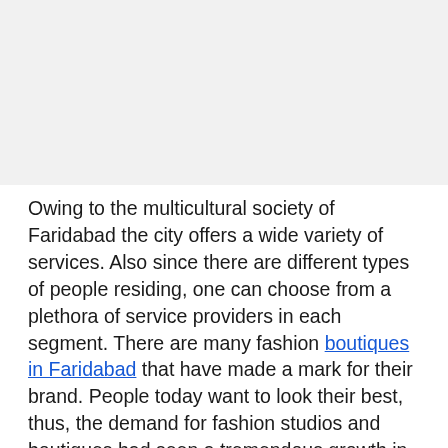[Figure (photo): Image placeholder area at the top of the page, light gray background]
Owing to the multicultural society of Faridabad the city offers a wide variety of services. Also since there are different types of people residing, one can choose from a plethora of service providers in each segment. There are many fashion boutiques in Faridabad that have made a mark for their brand. People today want to look their best, thus, the demand for fashion studios and boutiques had seen a tremendous growth in Faridabad. The good thing about these boutiques is that they offer customized services to their clients as per their varying